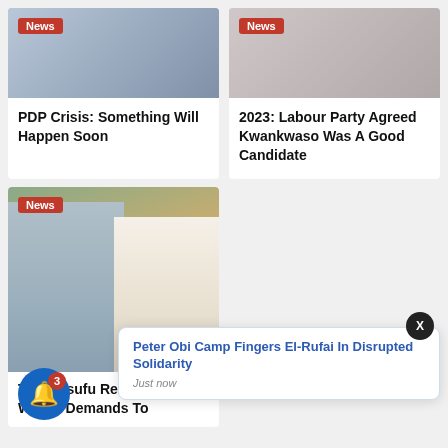[Figure (photo): News card image top left with News badge]
PDP Crisis: Something Will Happen Soon
[Figure (photo): News card image top right with News badge]
2023: Labour Party Agreed Kwankwaso Was A Good Candidate
[Figure (photo): Two men seated on a golden sofa, News badge visible]
Tina Yesufu Reacts To Wike's Demands To
Peter Obi Camp Fingers El-Rufai In Disrupted Solidarity
Just now